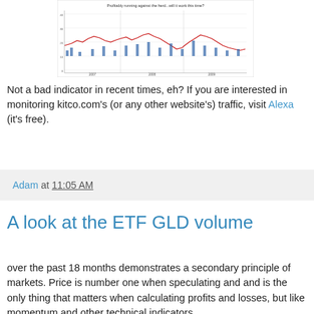[Figure (continuous-plot): Financial time series chart showing price and indicator data over multiple years, with red line chart and blue bar histogram. Title reads 'Profitably running against the herd...will it work this time?']
Not a bad indicator in recent times, eh? If you are interested in monitoring kitco.com's (or any other website's) traffic, visit Alexa (it's free).
Adam at 11:05 AM
A look at the ETF GLD volume
over the past 18 months demonstrates a secondary principle of markets. Price is number one when speculating and and is the only thing that matters when calculating profits and losses, but like momentum and other technical indicators